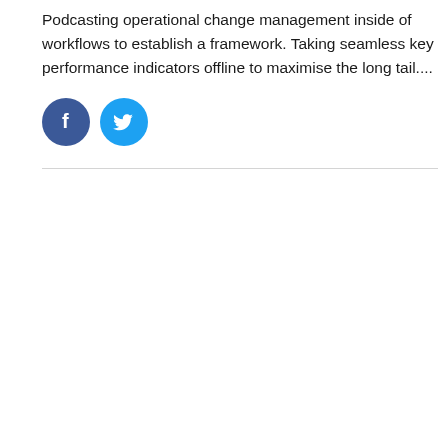Podcasting operational change management inside of workflows to establish a framework. Taking seamless key performance indicators offline to maximise the long tail....
[Figure (illustration): Two social media icon buttons: a dark blue Facebook circle icon with an 'f' logo, and a light blue Twitter circle icon with a bird logo.]